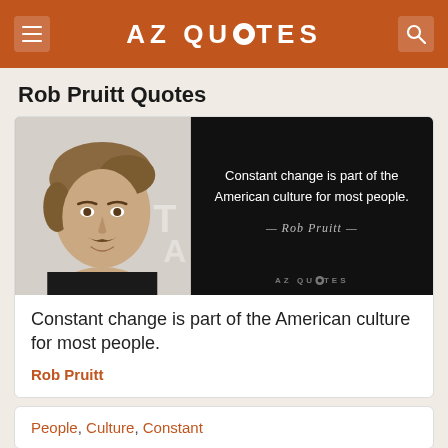AZ QUOTES
Rob Pruitt Quotes
[Figure (photo): Quote card image: left half shows a photo of Rob Pruitt (young man with brown hair and mustache), right half is black panel with white text: 'Constant change is part of the American culture for most people.' — Rob Pruitt — and AZ QUOTES logo at bottom.]
Constant change is part of the American culture for most people.
Rob Pruitt
People, Culture, Constant